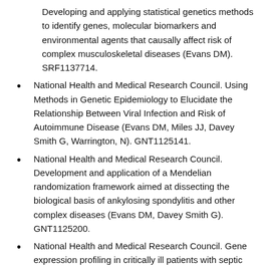Developing and applying statistical genetics methods to identify genes, molecular biomarkers and environmental agents that causally affect risk of complex musculoskeletal diseases (Evans DM). SRF1137714.
National Health and Medical Research Council. Using Methods in Genetic Epidemiology to Elucidate the Relationship Between Viral Infection and Risk of Autoimmune Disease (Evans DM, Miles JJ, Davey Smith G, Warrington, N). GNT1125141.
National Health and Medical Research Council. Development and application of a Mendelian randomization framework aimed at dissecting the biological basis of ankylosing spondylitis and other complex diseases (Evans DM, Davey Smith G). GNT1125200.
National Health and Medical Research Council. Gene expression profiling in critically ill patients with septic shock: The ADRENAL-GEPS Study. (Evans DM,